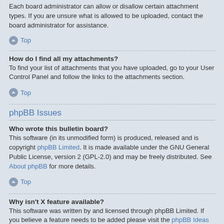Each board administrator can allow or disallow certain attachment types. If you are unsure what is allowed to be uploaded, contact the board administrator for assistance.
Top
How do I find all my attachments?
To find your list of attachments that you have uploaded, go to your User Control Panel and follow the links to the attachments section.
Top
phpBB Issues
Who wrote this bulletin board?
This software (in its unmodified form) is produced, released and is copyright phpBB Limited. It is made available under the GNU General Public License, version 2 (GPL-2.0) and may be freely distributed. See About phpBB for more details.
Top
Why isn't X feature available?
This software was written by and licensed through phpBB Limited. If you believe a feature needs to be added please visit the phpBB Ideas Centre, where you can upvote existing ideas or suggest new features.